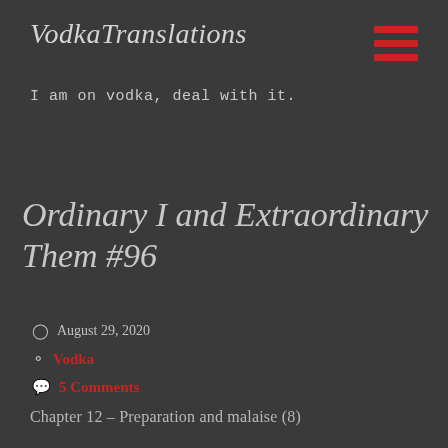VodkaTranslations
I am on vodka, deal with it.
Ordinary I and Extraordinary Them #96
August 29, 2020
Vodka
5 Comments
Chapter 12 – Preparation and malaise (8)